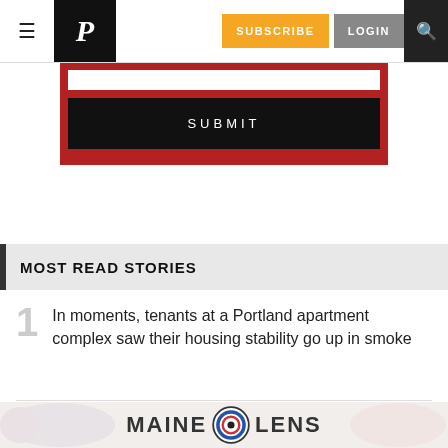P | SUBSCRIBE | LOGIN
[Figure (screenshot): Red form area with white input box and black SUBMIT button]
MOST READ STORIES
1. In moments, tenants at a Portland apartment complex saw their housing stability go up in smoke
[Figure (logo): MAINE O LENS advertisement banner with circular lens logo graphic]